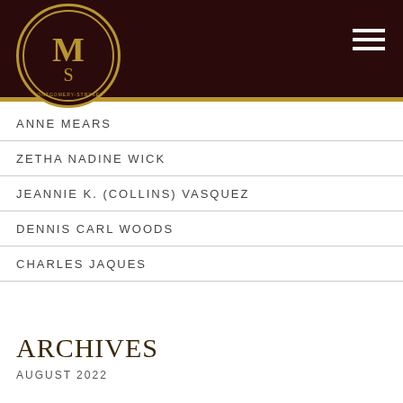Montgomery-Stryker Funeral Home
ANNE MEARS
ZETHA NADINE WICK
JEANNIE K. (COLLINS) VASQUEZ
DENNIS CARL WOODS
CHARLES JAQUES
ARCHIVES
AUGUST 2022